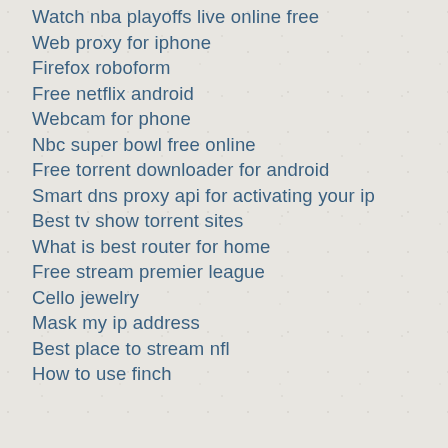Watch nba playoffs live online free
Web proxy for iphone
Firefox roboform
Free netflix android
Webcam for phone
Nbc super bowl free online
Free torrent downloader for android
Smart dns proxy api for activating your ip
Best tv show torrent sites
What is best router for home
Free stream premier league
Cello jewelry
Mask my ip address
Best place to stream nfl
How to use finch